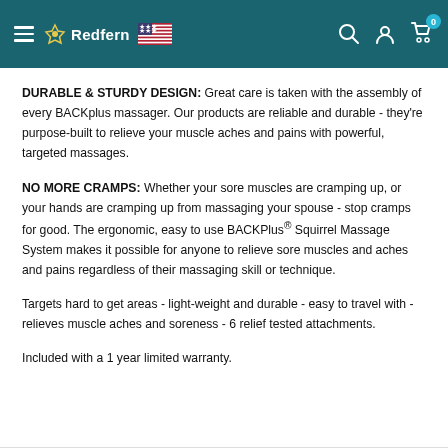Redfern [logo + US flag] — navigation header with search, account, cart icons
DURABLE & STURDY DESIGN: Great care is taken with the assembly of every BACKplus massager. Our products are reliable and durable - they're purpose-built to relieve your muscle aches and pains with powerful, targeted massages.
NO MORE CRAMPS: Whether your sore muscles are cramping up, or your hands are cramping up from massaging your spouse - stop cramps for good. The ergonomic, easy to use BACKPlus® Squirrel Massage System makes it possible for anyone to relieve sore muscles and aches and pains regardless of their massaging skill or technique.
Targets hard to get areas - light-weight and durable - easy to travel with - relieves muscle aches and soreness - 6 relief tested attachments.
Included with a 1 year limited warranty.